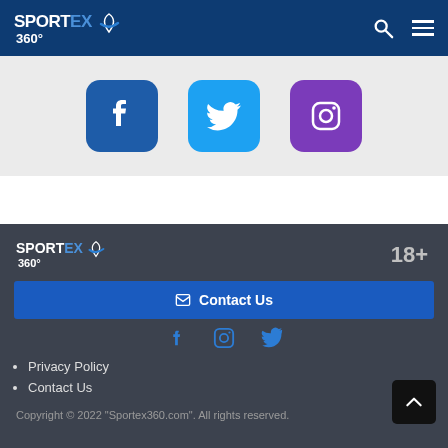SPORTEX 360°
[Figure (logo): Facebook, Twitter, Instagram social media icons on grey background]
[Figure (logo): Sportex360 footer logo with 18+ age indicator]
✉ Contact Us
[Figure (infographic): Facebook, Instagram, Twitter footer social icons in blue]
Privacy Policy
Contact Us
Copyright © 2022 "Sportex360.com". All rights reserved.